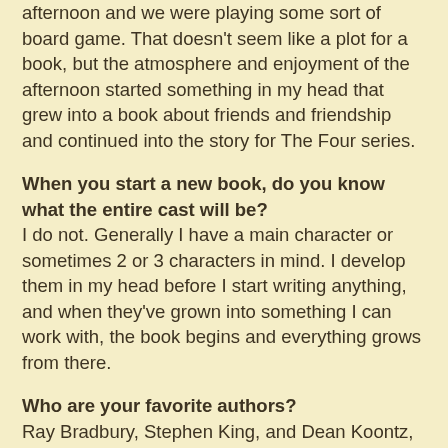afternoon and we were playing some sort of board game. That doesn't seem like a plot for a book, but the atmosphere and enjoyment of the afternoon started something in my head that grew into a book about friends and friendship and continued into the story for The Four series.
When you start a new book, do you know what the entire cast will be?
I do not. Generally I have a main character or sometimes 2 or 3 characters in mind. I develop them in my head before I start writing anything, and when they've grown into something I can work with, the book begins and everything grows from there.
Who are your favorite authors?
Ray Bradbury, Stephen King, and Dean Koontz, and just about any author that entertains me with his/her work.